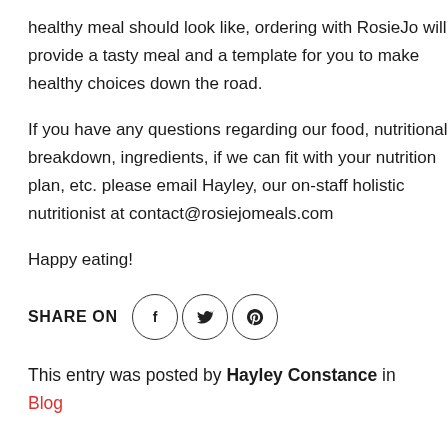healthy meal should look like, ordering with RosieJo will provide a tasty meal and a template for you to make healthy choices down the road.
If you have any questions regarding our food, nutritional breakdown, ingredients, if we can fit with your nutrition plan, etc. please email Hayley, our on-staff holistic nutritionist at contact@rosiejomeals.com
Happy eating!
[Figure (infographic): SHARE ON label followed by three circular social media icon buttons for Facebook (f), Twitter (bird), and Pinterest (p)]
This entry was posted by Hayley Constance in Blog